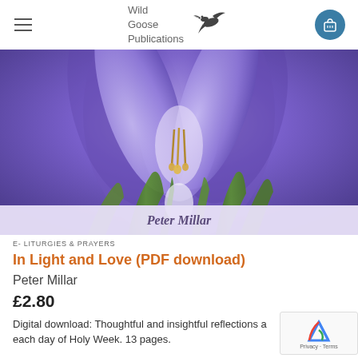Wild Goose Publications
[Figure (photo): Close-up macro photo of a blue/purple crocus flower with green stems, with a lavender/purple author band reading 'Peter Millar']
E- LITURGIES & PRAYERS
In Light and Love (PDF download)
Peter Millar
£2.80
Digital download: Thoughtful and insightful reflections and prayers for each day of Holy Week. 13 pages.